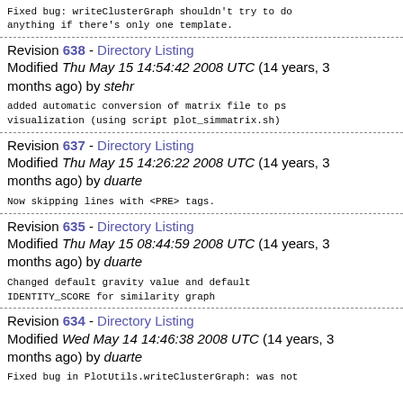Fixed bug: writeClusterGraph shouldn't try to do anything if there's only one template.
Revision 638 - Directory Listing
Modified Thu May 15 14:54:42 2008 UTC (14 years, 3 months ago) by stehr
added automatic conversion of matrix file to ps visualization (using script plot_simmatrix.sh)
Revision 637 - Directory Listing
Modified Thu May 15 14:26:22 2008 UTC (14 years, 3 months ago) by duarte
Now skipping lines with <PRE> tags.
Revision 635 - Directory Listing
Modified Thu May 15 08:44:59 2008 UTC (14 years, 3 months ago) by duarte
Changed default gravity value and default IDENTITY_SCORE for similarity graph
Revision 634 - Directory Listing
Modified Wed May 14 14:46:38 2008 UTC (14 years, 3 months ago) by duarte
Fixed bug in PlotUtils.writeClusterGraph: was not...